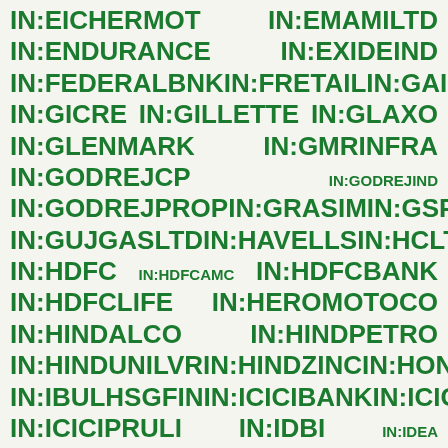IN:EICHERMOT IN:EMAMILTD IN:ENDURANCE IN:EXIDEIND IN:FEDERALBNK IN:FRETAIL IN:GAIL IN:GICRE IN:GILLETTE IN:GLAXO IN:GLENMARK IN:GMRINFRA IN:GODREJCP IN:GODREJIND IN:GODREJPROP IN:GRASIM IN:GSPL IN:GUJGASLTD IN:HAVELLS IN:HCLTECH IN:HDFC IN:HDFCAMC IN:HDFCBANK IN:HDFCLIFE IN:HEROMOTOCO IN:HINDALCO IN:HINDPETRO IN:HINDUNILVR IN:HINDZINC IN:HONAUT IN:IBULHSGFIN IN:ICICIBANK IN:ICICIGI IN:ICICIPRULI IN:IDBI IN:IDEA IN:IDFCFIRSTB IN:IGL IN:INDHOTEL IN:INDIANB IN:INDIGO IN:INDUSINDBK IN:INDUSTOWER IN:INFY IN:IOC IN:IPCALAB IN:ITC IN:JINDALSTEL IN:JSWENERGY